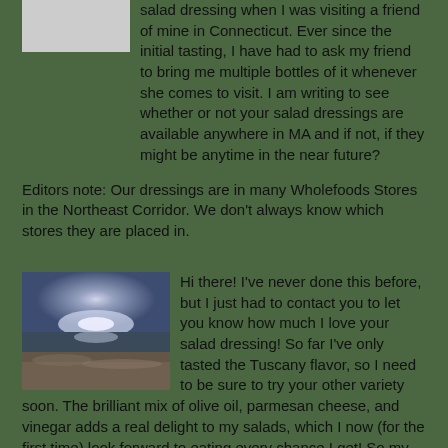salad dressing when I was visiting a friend of mine in Connecticut. Ever since the initial tasting, I have had to ask my friend to bring me multiple bottles of it whenever she comes to visit. I am writing to see whether or not your salad dressings are available anywhere in MA and if not, if they might be anytime in the near future?
Editors note: Our dressings are in many Wholefoods Stores in the Northeast Corridor. We don't always know which stores they are placed in.
[Figure (photo): A landscape photo showing a beach or shoreline at dusk or dawn, with a glowing light on the horizon reflected in the water and a sandy/rocky shore in the foreground.]
Hi there! I've never done this before, but I just had to contact you to let you know how much I love your salad dressing! So far I've only tasted the Tuscany flavor, so I need to be sure to try your other variety soon. The brilliant mix of olive oil, parmesan cheese, and vinegar adds a real delight to my salads, which I now (for the first time) look forward to eating every chance I get! So my